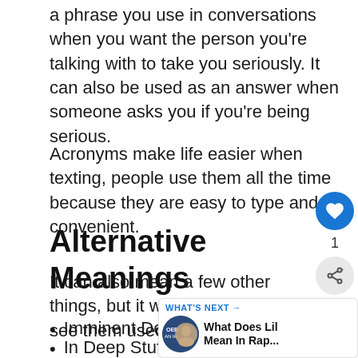a phrase you use in conversations when you want the person you're talking with to take you seriously. It can also be used as an answer when someone asks you if you're being serious.
Acronyms make life easier when texting, people use them all the time because they are easy to type and convenient.
Alternative Meanings
It can also mean a few other things, but it would be rare to see them used this way...
Imminent Death syndrome
In Deep Stuff